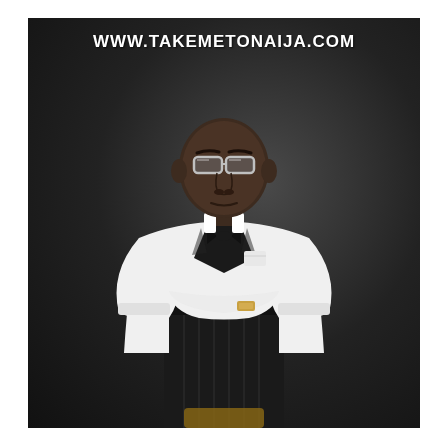[Figure (photo): A man wearing glasses, a white tuxedo jacket with black lapels, black bow tie, and black pinstripe trousers, sitting with arms crossed against a dark studio background. Watermark text 'WWW.TAKEMETONAIJA.COM' appears at the top of the photo.]